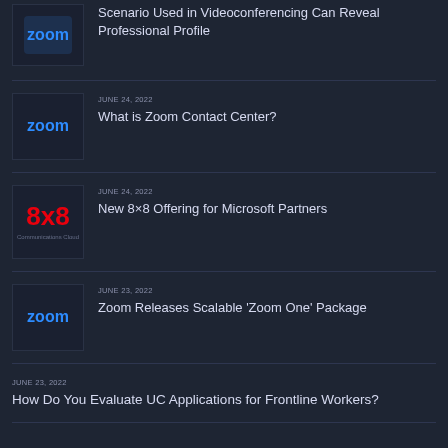Scenario Used in Videoconferencing Can Reveal Professional Profile
JUNE 24, 2022 — What is Zoom Contact Center?
JUNE 24, 2022 — New 8×8 Offering for Microsoft Partners
JUNE 23, 2022 — Zoom Releases Scalable 'Zoom One' Package
JUNE 23, 2022 — How Do You Evaluate UC Applications for Frontline Workers?